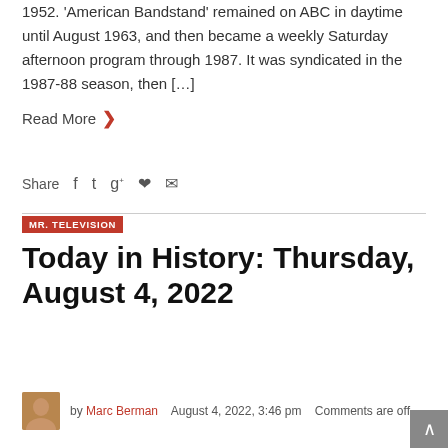1952. 'American Bandstand' remained on ABC in daytime until August 1963, and then became a weekly Saturday afternoon program through 1987. It was syndicated in the 1987-88 season, then […]
Read More >
Share  f  t  g+  Pinterest  Mail
MR. TELEVISION
Today in History: Thursday, August 4, 2022
by Marc Berman   August 4, 2022, 3:46 pm   Comments are off